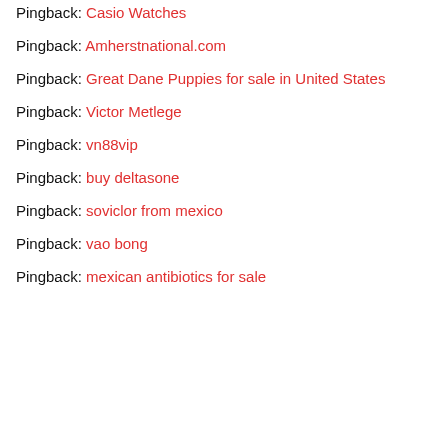Pingback: Casio Watches
Pingback: Amherstnational.com
Pingback: Great Dane Puppies for sale in United States
Pingback: Victor Metlege
Pingback: vn88vip
Pingback: buy deltasone
Pingback: soviclor from mexico
Pingback: vao bong
Pingback: mexican antibiotics for sale